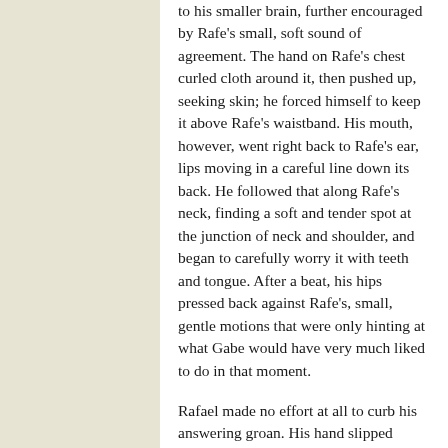to his smaller brain, further encouraged by Rafe's small, soft sound of agreement. The hand on Rafe's chest curled cloth around it, then pushed up, seeking skin; he forced himself to keep it above Rafe's waistband. His mouth, however, went right back to Rafe's ear, lips moving in a careful line down its back. He followed that along Rafe's neck, finding a soft and tender spot at the junction of neck and shoulder, and began to carefully worry it with teeth and tongue. After a beat, his hips pressed back against Rafe's, small, gentle motions that were only hinting at what Gabe would have very much liked to do in that moment.
Rafael made no effort at all to curb his answering groan. His hand slipped beneath Gabe's shirt, fitting to his warm, bare hip. He